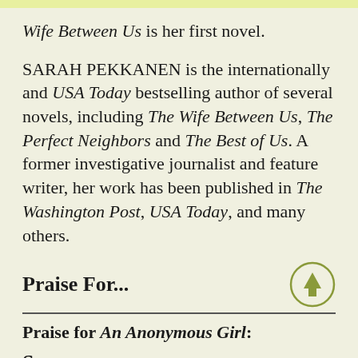Wife Between Us is her first novel.
SARAH PEKKANEN is the internationally and USA Today bestselling author of several novels, including The Wife Between Us, The Perfect Neighbors and The Best of Us. A former investigative journalist and feature writer, her work has been published in The Washington Post, USA Today, and many others.
Praise For...
Praise for An Anonymous Girl: